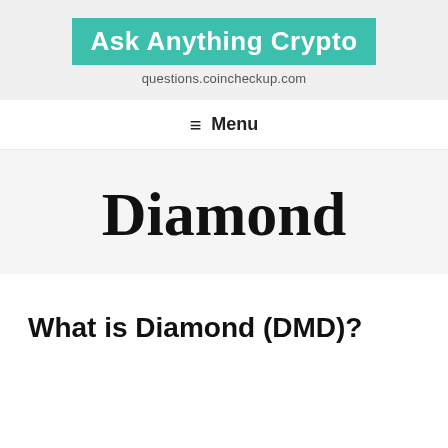Ask Anything Crypto
questions.coincheckup.com
≡ Menu
Diamond
What is Diamond (DMD)?